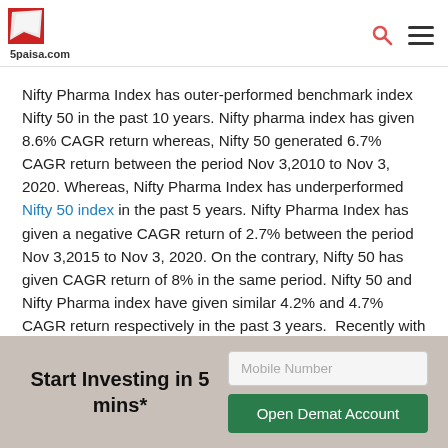5paisa.com
Nifty Pharma Index has outer-performed benchmark index Nifty 50 in the past 10 years. Nifty pharma index has given 8.6% CAGR return whereas, Nifty 50 generated 6.7% CAGR return between the period Nov 3,2010 to Nov 3, 2020. Whereas, Nifty Pharma Index has underperformed Nifty 50 index in the past 5 years. Nifty Pharma Index has given a negative CAGR return of 2.7% between the period Nov 3,2015 to Nov 3, 2020. On the contrary, Nifty 50 has given CAGR return of 8% in the same period. Nifty 50 and Nifty Pharma index have given similar 4.2% and 4.7% CAGR return respectively in the past 3 years. Recently with the spread of the coronavirus, pharmaceutical sector has given a spectacular absolute return of ~50% in the lockdown period (March 24,2020 to
Start Investing in 5 mins*
Mobile Number
Open Demat Account